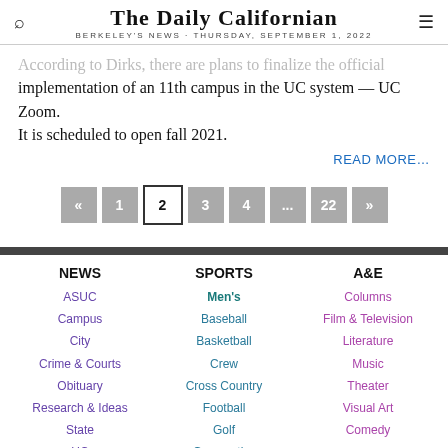THE DAILY CALIFORNIAN — BERKELEY'S NEWS · THURSDAY, SEPTEMBER 1, 2022
According to Dirks, there are plans to finalize the official implementation of an 11th campus in the UC system — UC Zoom. It is scheduled to open fall 2021.
READ MORE…
« 1 2 3 4 ... 22 »
NEWS
ASUC
Campus
City
Crime & Courts
Obituary
Research & Ideas
State
UC
SPORTS
Men's
Baseball
Basketball
Crew
Cross Country
Football
Golf
Gymnastics
A&E
Columns
Film & Television
Literature
Music
Theater
Visual Art
Comedy